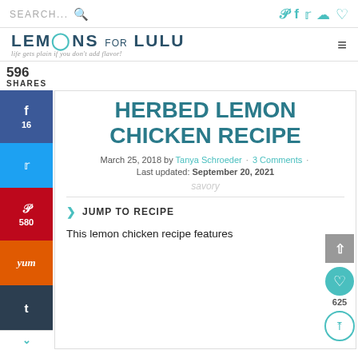SEARCH... [search icon] [Pinterest] [Facebook] [Twitter] [Instagram] [Heart]
[Figure (logo): Lemons For Lulu logo with tagline 'life gets plain if you don't add flavor!' and hamburger menu icon]
596
SHARES
[Figure (infographic): Social sharing sidebar with Facebook (16), Twitter, Pinterest (580), Yummly, Tumblr buttons]
HERBED LEMON CHICKEN RECIPE
March 25, 2018 by Tanya Schroeder · 3 Comments · Last updated: September 20, 2021
savory
JUMP TO RECIPE
This lemon chicken recipe features